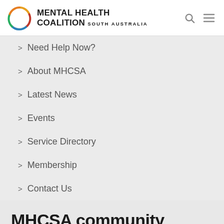MENTAL HEALTH COALITION SOUTH AUSTRALIA
> Need Help Now?
> About MHCSA
> Latest News
> Events
> Service Directory
> Membership
> Contact Us
MHCSA community